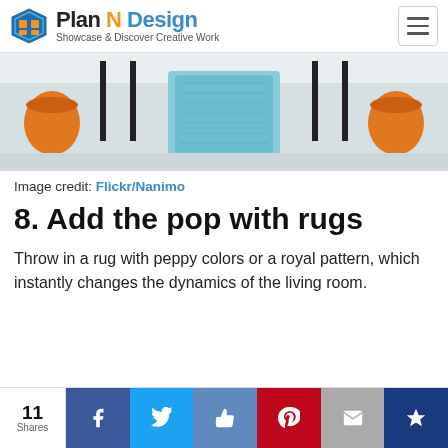Plan N Design — Showcase & Discover Creative Work
[Figure (photo): Photo of a light blue runner rug on a white floor between black furniture legs and orange pot planters]
Image credit: Flickr/Nanimo
8. Add the pop with rugs
Throw in a rug with peppy colors or a royal pattern, which instantly changes the dynamics of the living room.
11 Shares | Facebook | Twitter | Like | Pinterest | Email | Crown